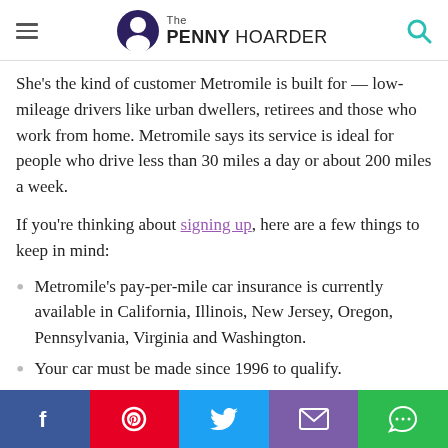The PENNY HOARDER
She's the kind of customer Metromile is built for — low-mileage drivers like urban dwellers, retirees and those who work from home. Metromile says its service is ideal for people who drive less than 30 miles a day or about 200 miles a week.
If you're thinking about signing up, here are a few things to keep in mind:
Metromile's pay-per-mile car insurance is currently available in California, Illinois, New Jersey, Oregon, Pennsylvania, Virginia and Washington.
Your car must be made since 1996 to qualify.
After signing up, the company will mail you a free device